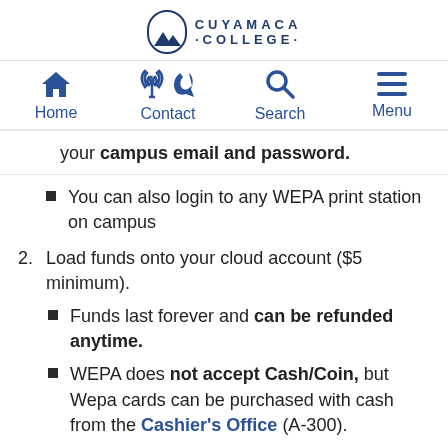[Figure (logo): Cuyamaca College logo with mountain/moon icon and text 'CUYAMACA COLLEGE']
Home | Contact | Search | Menu
your campus email and password.
You can also login to any WEPA print station on campus
Load funds onto your cloud account ($5 minimum).
Funds last forever and can be refunded anytime.
WEPA does not accept Cash/Coin, but Wepa cards can be purchased with cash from the Cashier's Office (A-300).